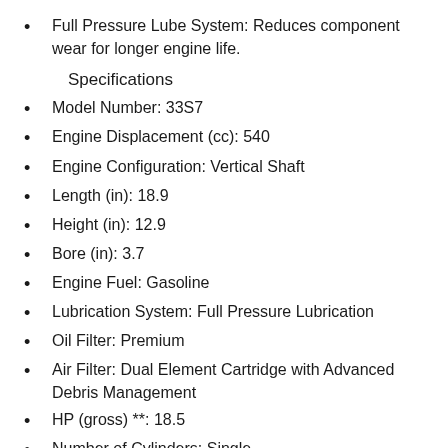Full Pressure Lube System: Reduces component wear for longer engine life.
Specifications
Model Number: 33S7
Engine Displacement (cc): 540
Engine Configuration: Vertical Shaft
Length (in): 18.9
Height (in): 12.9
Bore (in): 3.7
Engine Fuel: Gasoline
Lubrication System: Full Pressure Lubrication
Oil Filter: Premium
Air Filter: Dual Element Cartridge with Advanced Debris Management
HP (gross) **: 18.5
Number of Cylinders: Single
OHV Engine: Yes